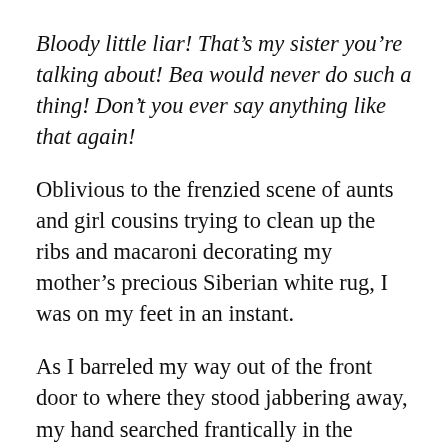Bloody little liar! That’s my sister you’re talking about! Bea would never do such a thing! Don’t you ever say anything like that again!
Oblivious to the frenzied scene of aunts and girl cousins trying to clean up the ribs and macaroni decorating my mother’s precious Siberian white rug, I was on my feet in an instant.
As I barreled my way out of the front door to where they stood jabbering away, my hand searched frantically in the depths of my pockets for my car keys.